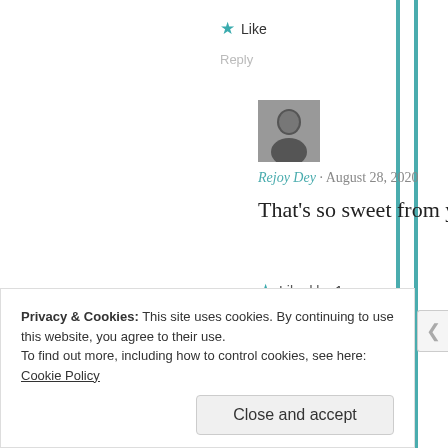★ Like
Reply
[Figure (photo): Small black and white avatar photo of Rejoy Dey]
Rejoy Dey · August 28, 2020
That's so sweet from you!!
★ Liked by 1 person
Reply
Privacy & Cookies: This site uses cookies. By continuing to use this website, you agree to their use. To find out more, including how to control cookies, see here: Cookie Policy